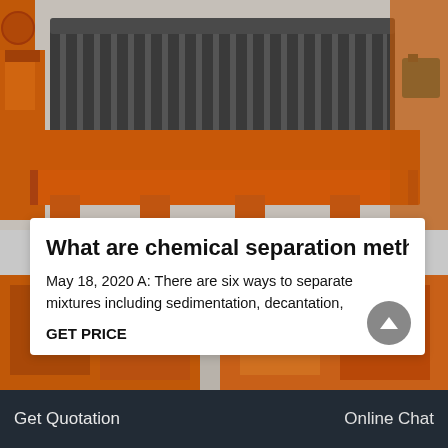[Figure (photo): Large orange industrial magnetic separator machine with cylindrical drum on top, sitting in a factory/outdoor setting with similar orange machinery in the background]
What are chemical separation meth
May 18, 2020 A: There are six ways to separate mixtures including sedimentation, decantation,
GET PRICE
[Figure (photo): Partial view of orange industrial machinery at the bottom of the page]
Get Quotation   Online   Online Chat